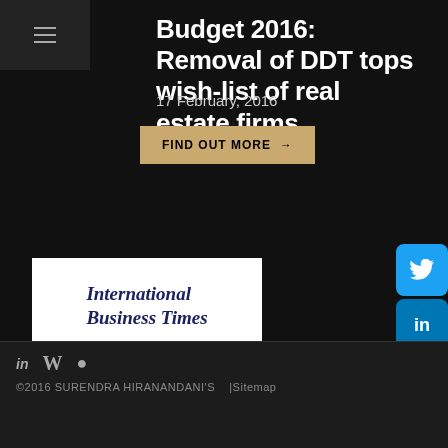Budget 2016: Removal of DDT tops wish-list of real estate firms
17 February, 2016
FIND OUT MORE →
[Figure (logo): International Business Times logo in dark blue serif italic font on white background]
What should the government focus on in budget 2016?
©2016 SURENDRA HIRANANDANI'S  |Sitemap